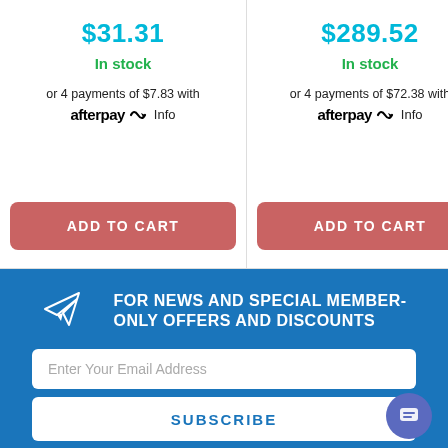$31.31
In stock
or 4 payments of $7.83 with afterpay Info
ADD TO CART
$289.52
In stock
or 4 payments of $72.38 with afterpay Info
ADD TO CART
FOR NEWS AND SPECIAL MEMBER-ONLY OFFERS AND DISCOUNTS
Enter Your Email Address
SUBSCRIBE